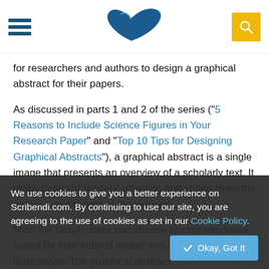Scribendi website header with hamburger menu, bird logo, and search button
for researchers and authors to design a graphical abstract for their papers.
As discussed in parts 1 and 2 of the series ("5 Reasons to Include Science Figures in Your Research Paper" and "Top 10 Tips for Designing Graphical Abstracts"), a graphical abstract is a single image that presents an overview of a scholarly text. It grabs potential readers' attention and shows them the purpose and results of the research.
Mind the Graph users can choose among templates suited By their subject matter and create unique illustrations. The graphical abstract.
We use cookies to give you a better experience on Scribendi.com. By continuing to use our site, you are agreeing to the use of cookies as set in our Cookie Policy.
Let's look in more detail at the ways that M leading the charge in infographic creation.